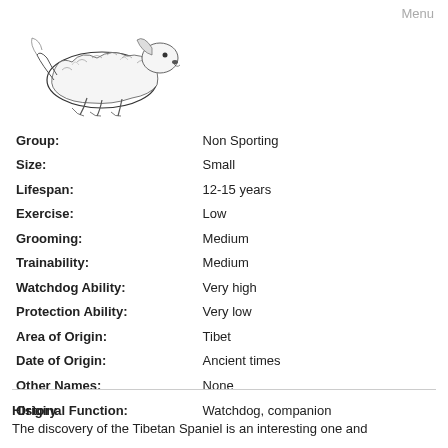Menu
[Figure (illustration): Black and white ink illustration of a small fluffy dog (Tibetan Spaniel), shown in profile facing right]
| Group: | Non Sporting |
| Size: | Small |
| Lifespan: | 12-15 years |
| Exercise: | Low |
| Grooming: | Medium |
| Trainability: | Medium |
| Watchdog Ability: | Very high |
| Protection Ability: | Very low |
| Area of Origin: | Tibet |
| Date of Origin: | Ancient times |
| Other Names: | None |
| Original Function: | Watchdog, companion |
History
The discovery of the Tibetan Spaniel is an interesting one and...